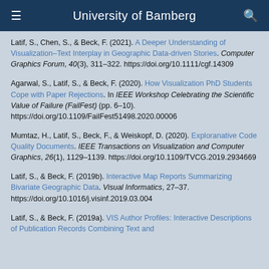University of Bamberg
Latif, S., Chen, S., & Beck, F. (2021). A Deeper Understanding of Visualization–Text Interplay in Geographic Data-driven Stories. Computer Graphics Forum, 40(3), 311–322. https://doi.org/10.1111/cgf.14309
Agarwal, S., Latif, S., & Beck, F. (2020). How Visualization PhD Students Cope with Paper Rejections. In IEEE Workshop Celebrating the Scientific Value of Failure (FailFest) (pp. 6–10). https://doi.org/10.1109/FailFest51498.2020.00006
Mumtaz, H., Latif, S., Beck, F., & Weiskopf, D. (2020). Exploranative Code Quality Documents. IEEE Transactions on Visualization and Computer Graphics, 26(1), 1129–1139. https://doi.org/10.1109/TVCG.2019.2934669
Latif, S., & Beck, F. (2019b). Interactive Map Reports Summarizing Bivariate Geographic Data. Visual Informatics, 27–37. https://doi.org/10.1016/j.visinf.2019.03.004
Latif, S., & Beck, F. (2019a). VIS Author Profiles: Interactive Descriptions of Publication Records Combining Text and